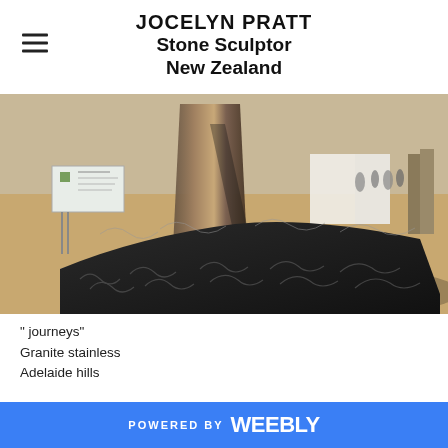JOCELYN PRATT
Stone Sculptor
New Zealand
[Figure (photo): Close-up photograph of a large granite and stainless steel sculpture titled 'journeys', showing a curved dark polished stone surface with engraved swirl patterns, mounted outdoors in Adelaide hills. A small sign is visible to the left and people can be seen in the background.]
" journeys"
Granite stainless
Adelaide hills
POWERED BY weebly